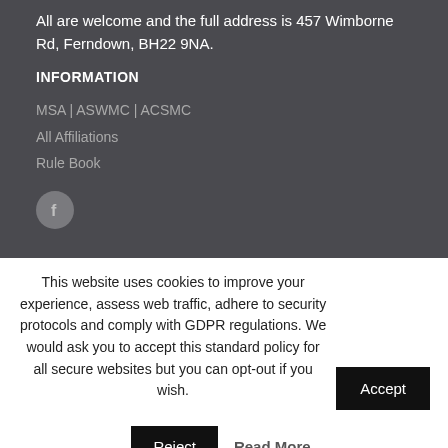All are welcome and the full address is 457 Wimborne Rd, Ferndown, BH22 9NA.
INFORMATION
MSA | ASWMC | ACSMC
All Affiliations
Rule Book
[Figure (logo): Facebook icon - circular grey button with white 'f' letter]
This website uses cookies to improve your experience, assess web traffic, adhere to security protocols and comply with GDPR regulations. We would ask you to accept this standard policy for all secure websites but you can opt-out if you wish.
Accept
Reject
Read More